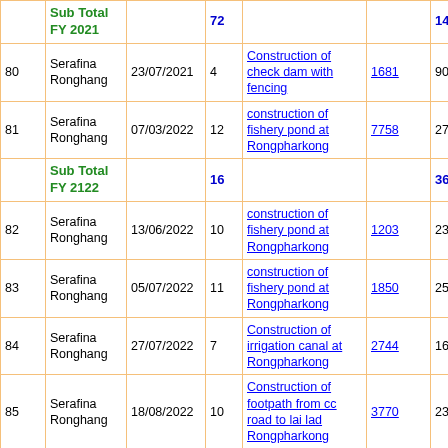| # | Name | Date | Qty | Description | ID | Amount | X |
| --- | --- | --- | --- | --- | --- | --- | --- |
|  | Sub Total FY 2021 |  | 72 |  |  | 14616 | 0 |
| 80 | Serafina Ronghang | 23/07/2021 | 4 | Construction of check dam with fencing | 1681 | 904 | 0 |
| 81 | Serafina Ronghang | 07/03/2022 | 12 | construction of fishery pond at Rongpharkong | 7758 | 2712 | 0 |
|  | Sub Total FY 2122 |  | 16 |  |  | 3616 | 0 |
| 82 | Serafina Ronghang | 13/06/2022 | 10 | construction of fishery pond at Rongpharkong | 1203 | 2300 | 0 |
| 83 | Serafina Ronghang | 05/07/2022 | 11 | construction of fishery pond at Rongpharkong | 1850 | 2530 | 0 |
| 84 | Serafina Ronghang | 27/07/2022 | 7 | Construction of irrigation canal at Rongpharkong | 2744 | 1610 | 0 |
| 85 | Serafina Ronghang | 18/08/2022 | 10 | Construction of footpath from cc road to lai lad Rongpharkong | 3770 | 2300 | 0 |
|  | Sub Total FY 2223 |  | 38 |  |  | 8740 | 0 |